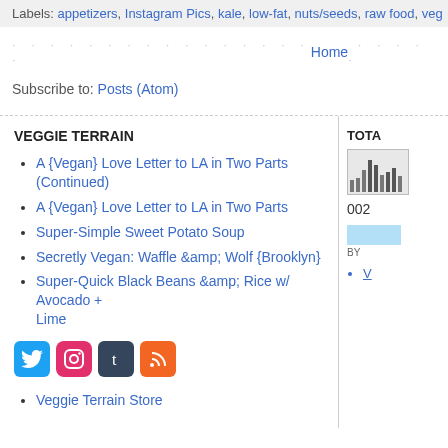Labels: appetizers, Instagram Pics, kale, low-fat, nuts/seeds, raw food, veg
Home
Subscribe to: Posts (Atom)
VEGGIE TERRAIN
A {Vegan} Love Letter to LA in Two Parts (Continued)
A {Vegan} Love Letter to LA in Two Parts
Super-Simple Sweet Potato Soup
Secretly Vegan: Waffle &amp; Wolf {Brooklyn}
Super-Quick Black Beans &amp; Rice w/ Avocado + Lime
[Figure (other): Social media icons: Twitter, Instagram, Tumblr, RSS]
Veggie Terrain Store
TOTA
[Figure (histogram): Small traffic/visits histogram chart]
002
BY
V